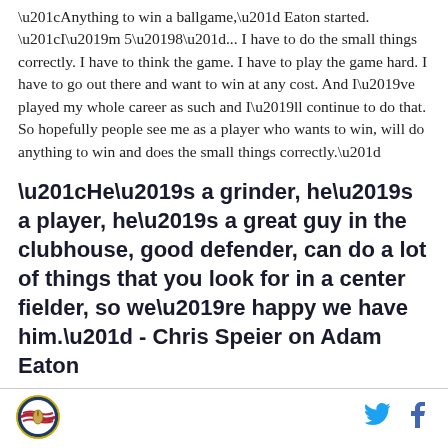“Anything to win a ballgame,” Eaton started. “I’m 5’8”... I have to do the small things correctly. I have to think the game. I have to play the game hard. I have to go out there and want to win at any cost. And I’ve played my whole career as such and I’ll continue to do that. So hopefully people see me as a player who wants to win, will do anything to win and does the small things correctly.”
“He’s a grinder, he’s a player, he’s a great guy in the clubhouse, good defender, can do a lot of things that you look for in a center fielder, so we’re happy we have him.” - Chris Speier on Adam Eaton
[Figure (logo): Circular logo with American flag and baseball imagery]